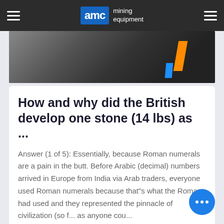AMC mining equipment
[Figure (photo): Photo of mining equipment with dark metallic parts, orange and blue accents visible]
How and why did the British develop one stone (14 lbs) as ...
Answer (1 of 5): Essentially, because Roman numerals are a pain in the butt. Before Arabic (decimal) numbers arrived in Europe from India via Arab traders, everyone used Roman numerals because that"s what the Romans had used and they represented the pinnacle of civilization (so f... as anyone cou...
مشورت کردن